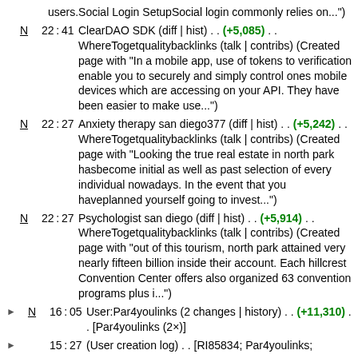users.Social Login SetupSocial login commonly relies on...")
N 22:41 ClearDAO SDK (diff | hist) . . (+5,085) . . WhereTogetqualitybacklinks (talk | contribs) (Created page with "In a mobile app, use of tokens to verification enable you to securely and simply control ones mobile devices which are accessing on your API. They have been easier to make use...")
N 22:27 Anxiety therapy san diego377 (diff | hist) . . (+5,242) . . WhereTogetqualitybacklinks (talk | contribs) (Created page with "Looking the true real estate in north park hasbecome initial as well as past selection of every individual nowadays. In the event that you haveplanned yourself going to invest...")
N 22:27 Psychologist san diego (diff | hist) . . (+5,914) . . WhereTogetqualitybacklinks (talk | contribs) (Created page with "out of this tourism, north park attained very nearly fifteen billion inside their account. Each hillcrest Convention Center offers also organized 63 convention programs plus i...")
N 16:05 User:Par4youlinks (2 changes | history) . . (+11,310) . . [Par4youlinks (2×)]
15:27 (User creation log) . . [RI85834; Par4youlinks;